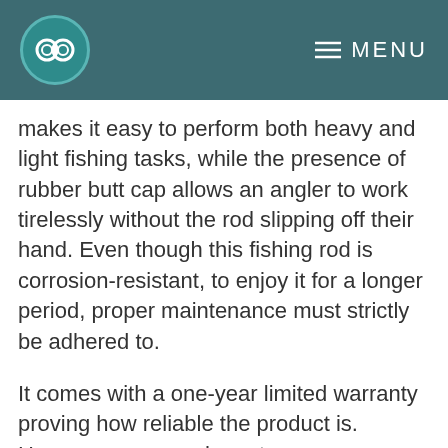≡ MENU
makes it easy to perform both heavy and light fishing tasks, while the presence of rubber butt cap allows an angler to work tirelessly without the rod slipping off their hand. Even though this fishing rod is corrosion-resistant, to enjoy it for a longer period, proper maintenance must strictly be adhered to.
It comes with a one-year limited warranty proving how reliable the product is. However, you may have to pay an affordable shipping cost if it mistakenly develops a fault as a result of poor management.